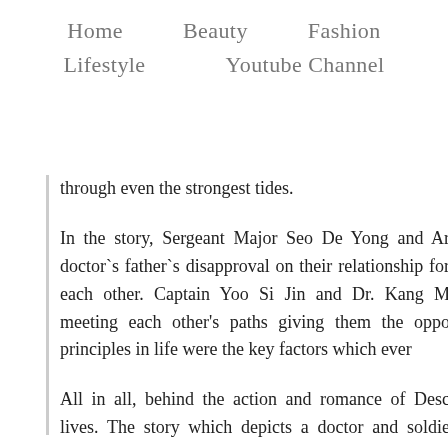Home    Beauty    Fashion    Lifestyle    Youtube Channel
through even the strongest tides.
In the story, Sergeant Major Seo De Yong and Ar doctor`s father`s disapproval on their relationship for each other. Captain Yoo Si Jin and Dr. Kang M meeting each other's paths giving them the oppo principles in life were the key factors which ever
All in all, behind the action and romance of Desc lives. The story which depicts a doctor and soldie must take into consideration so we can also live a